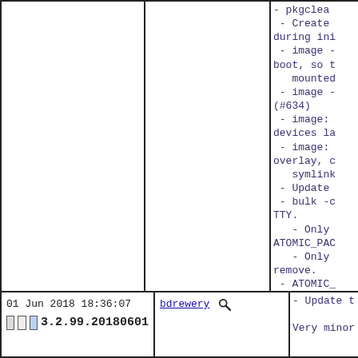- pkgclea
 - Create during ini
 - image - boot, so t mounted
 - image - (#634)
 - image: devices la
 - image: overlay, c symlink
 - Update
 - bulk -c TTY.
 - Only ATOMIC_PAC
 - Only remove.
 - ATOMIC_ verbose ab paths.
 - image: regarding
 - image:
 - Update
01 Jun 2018 18:36:07
[icons] 3.2.99.20180601
bdrewery [magnify icon]
- Update t

Very minor